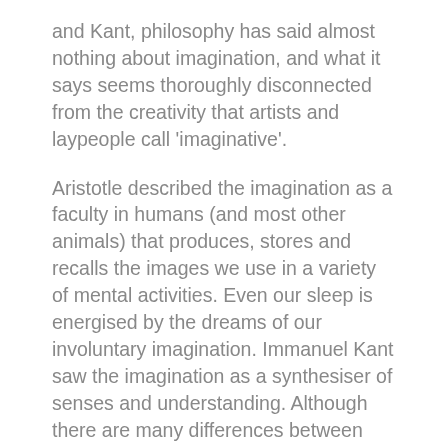and Kant, philosophy has said almost nothing about imagination, and what it says seems thoroughly disconnected from the creativity that artists and laypeople call 'imaginative'.
Aristotle described the imagination as a faculty in humans (and most other animals) that produces, stores and recalls the images we use in a variety of mental activities. Even our sleep is energised by the dreams of our involuntary imagination. Immanuel Kant saw the imagination as a synthesiser of senses and understanding. Although there are many differences between Aristotle's and Kant's philosophies, Kant agreed that the imagination is an unconscious synthesising faculty that pulls together sense perceptions and binds them into coherent representations with universal conceptual